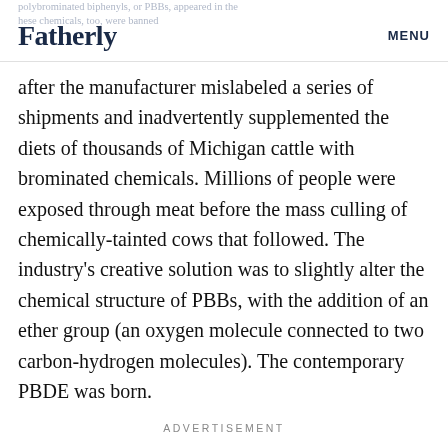Fatherly  MENU
polybrominated biphenyls, or PBBs, appeared in the hese chemicals, too, were banned after the manufacturer mislabeled a series of shipments and inadvertently supplemented the diets of thousands of Michigan cattle with brominated chemicals. Millions of people were exposed through meat before the mass culling of chemically-tainted cows that followed. The industry’s creative solution was to slightly alter the chemical structure of PBBs, with the addition of an ether group (an oxygen molecule connected to two carbon-hydrogen molecules). The contemporary PBDE was born.
ADVERTISEMENT